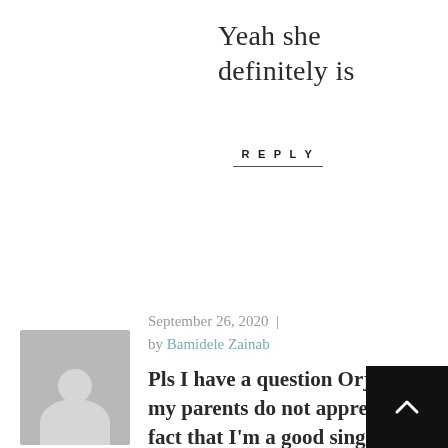Yeah she definitely is
REPLY
September 26, 2020 | by Bamidele Zainab
[Figure (illustration): Grey avatar placeholder image of a person silhouette]
Pls I have a question Orjiakor, my parents do not appreciate the fact that I'm a good singer and that I want to pursue a career in it. They want me to get a